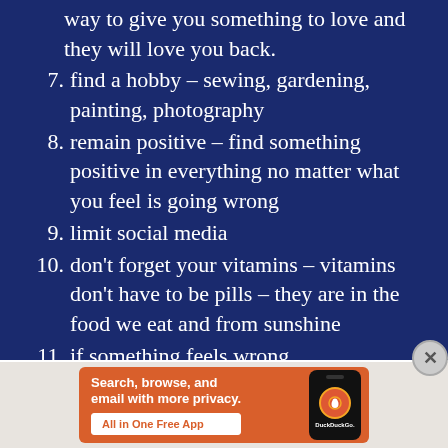way to give you something to love and they will love you back.
7. find a hobby – sewing, gardening, painting, photography
8. remain positive – find something positive in everything no matter what you feel is going wrong
9. limit social media
10. don't forget your vitamins – vitamins don't have to be pills – they are in the food we eat and from sunshine
11. if something feels wrong...
[Figure (infographic): DuckDuckGo advertisement banner: orange background with text 'Search, browse, and email with more privacy.' and 'All in One Free App' button, with a phone illustration and DuckDuckGo logo]